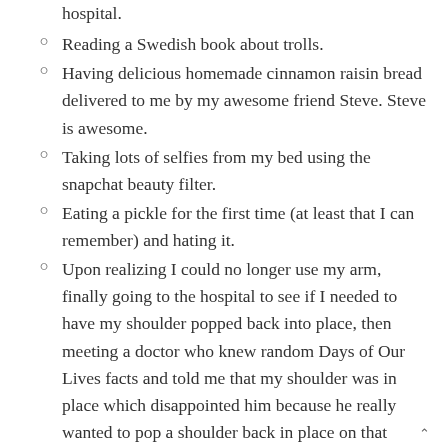hospital.
Reading a Swedish book about trolls.
Having delicious homemade cinnamon raisin bread delivered to me by my awesome friend Steve. Steve is awesome.
Taking lots of selfies from my bed using the snapchat beauty filter.
Eating a pickle for the first time (at least that I can remember) and hating it.
Upon realizing I could no longer use my arm, finally going to the hospital to see if I needed to have my shoulder popped back into place, then meeting a doctor who knew random Days of Our Lives facts and told me that my shoulder was in place which disappointed him because he really wanted to pop a shoulder back in place on that particular day. Then